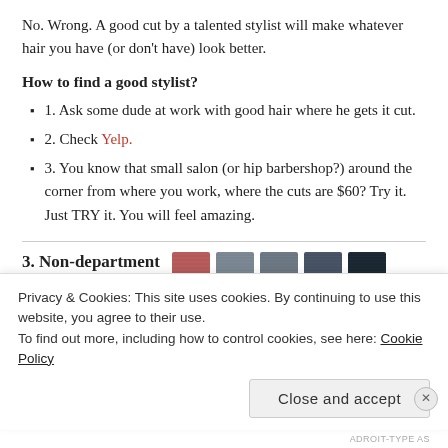No. Wrong. A good cut by a talented stylist will make whatever hair you have (or don't have) look better.
How to find a good stylist?
1. Ask some dude at work with good hair where he gets it cut.
2. Check Yelp.
3. You know that small salon (or hip barbershop?) around the corner from where you work, where the cuts are $60? Try it. Just TRY it. You will feel amazing.
3. Non-department store ties
[Figure (photo): Five neckties displayed side by side in shades of red/pink, light gray, medium gray, dark blue-gray, and near black]
Privacy & Cookies: This site uses cookies. By continuing to use this website, you agree to their use.
To find out more, including how to control cookies, see here: Cookie Policy
Close and accept
ADROIT-TYPE AS